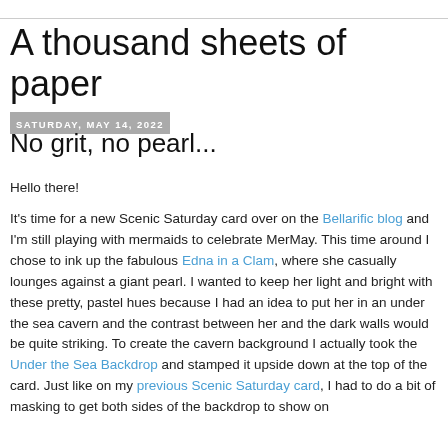A thousand sheets of paper
Saturday, May 14, 2022
No grit, no pearl...
Hello there!
It's time for a new Scenic Saturday card over on the Bellarific blog and I'm still playing with mermaids to celebrate MerMay. This time around I chose to ink up the fabulous Edna in a Clam, where she casually lounges against a giant pearl. I wanted to keep her light and bright with these pretty, pastel hues because I had an idea to put her in an under the sea cavern and the contrast between her and the dark walls would be quite striking. To create the cavern background I actually took the Under the Sea Backdrop and stamped it upside down at the top of the card. Just like on my previous Scenic Saturday card, I had to do a bit of masking to get both sides of the backdrop to show on